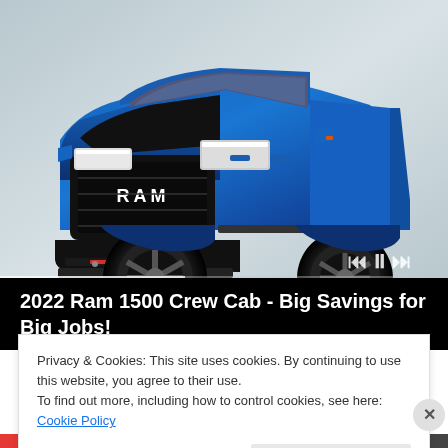[Figure (photo): Blue 2022 Ram 1500 Crew Cab pickup truck with black grille, oversized off-road tires, and side steps, shown against a light grey background. Media playback controls (previous, pause, next) are visible in the lower right of the image area. A scrubber/progress bar is at the bottom of the image.]
2022 Ram 1500 Crew Cab - Big Savings for Big Jobs!
Privacy & Cookies: This site uses cookies. By continuing to use this website, you agree to their use.
To find out more, including how to control cookies, see here: Cookie Policy
Close and accept